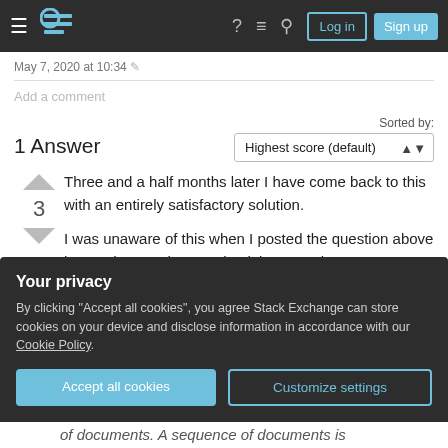Stack Exchange navigation bar with Log in and Sign up buttons
May 7, 2020 at 10:34
Add a comment
1 Answer
Sorted by: Highest score (default)
Three and a half months later I have come back to this with an entirely satisfactory solution.
I was unaware of this when I posted the question above in March 2020, but way back in 2011, the
Your privacy
By clicking "Accept all cookies", you agree Stack Exchange can store cookies on your device and disclose information in accordance with our Cookie Policy.
of documents. A sequence of documents is